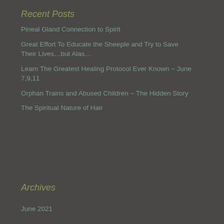Recent Posts
Pineal Gland Connection to Spirit
Great Effort To Educate the Sheeple and Try to Save Their Lives…but Alas…
Learn The Greatest Healing Protocol Ever Known ~ June 7,9,11
Orphan Trains and Abused Children ~ The Hidden Story
The Spiritual Nature of Hair
Archives
June 2021